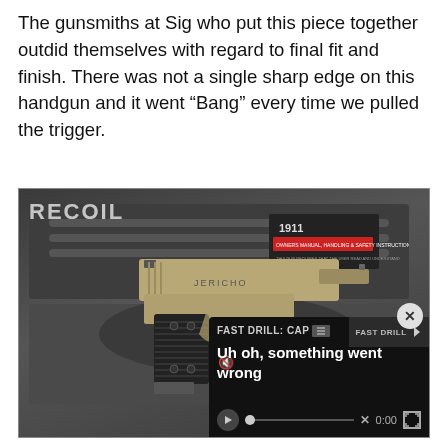The gunsmiths at Sig who put this piece together outdid themselves with regard to final fit and finish. There was not a single sharp edge on this handgun and it went “Bang” every time we pulled the trigger.
[Figure (photo): A 1911-style pistol with tan/FDE finish and dark checkered grips displayed in a black foam-lined hard case. The case lid shows a label reading '1911' with owner's manual and safety instructions. A RECOIL magazine watermark appears in the upper left. A video player overlay in the lower right shows 'FAST DRILL: CAP' title with error message 'Uh oh, something went wrong' and playback controls at 0:00.]